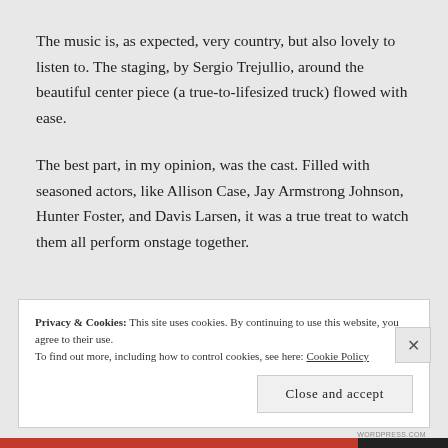The music is, as expected, very country, but also lovely to listen to. The staging, by Sergio Trejullio, around the beautiful center piece (a true-to-lifesized truck) flowed with ease.
The best part, in my opinion, was the cast. Filled with seasoned actors, like Allison Case, Jay Armstrong Johnson, Hunter Foster, and Davis Larsen, it was a true treat to watch them all perform onstage together.
Privacy & Cookies: This site uses cookies. By continuing to use this website, you agree to their use. To find out more, including how to control cookies, see here: Cookie Policy